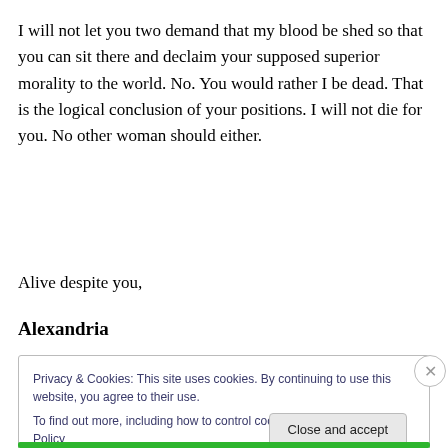I will not let you two demand that my blood be shed so that you can sit there and declaim your supposed superior morality to the world. No. You would rather I be dead. That is the logical conclusion of your positions. I will not die for you. No other woman should either.
Alive despite you,
Alexandria
Privacy & Cookies: This site uses cookies. By continuing to use this website, you agree to their use.
To find out more, including how to control cookies, see here: Cookie Policy